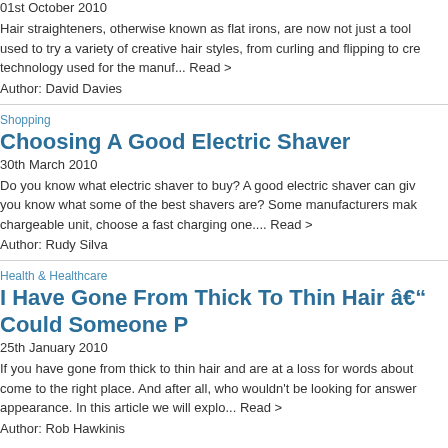01st October 2010
Hair straighteners, otherwise known as flat irons, are now not just a tool used to try a variety of creative hair styles, from curling and flipping to cre technology used for the manuf... Read >
Author: David Davies
Shopping
Choosing A Good Electric Shaver
30th March 2010
Do you know what electric shaver to buy? A good electric shaver can give you know what some of the best shavers are? Some manufacturers mak chargeable unit, choose a fast charging one.... Read >
Author: Rudy Silva
Health & Healthcare
I Have Gone From Thick To Thin Hair â€“ Could Someone P
25th January 2010
If you have gone from thick to thin hair and are at a loss for words about come to the right place. And after all, who wouldn't be looking for answer appearance. In this article we will explo... Read >
Author: Rob Hawkinis